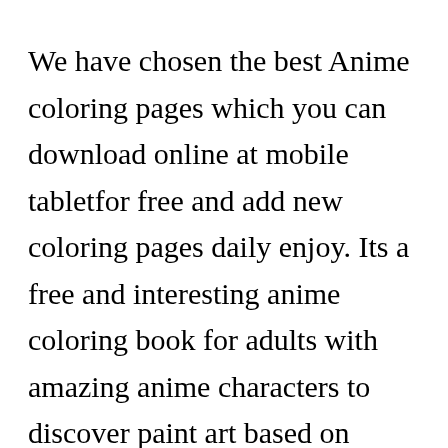We have chosen the best Anime coloring pages which you can download online at mobile tabletfor free and add new coloring pages daily enjoy. Its a free and interesting anime coloring book for adults with amazing anime characters to discover paint art based on numbers. Download and turn on your favorite anime and color away. Color pics any way YOU like Every fan of anime and. Download Tatacat Flower Fairy Dress Coloring Book [X] lf Printable Hd